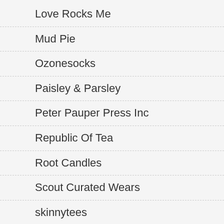Love Rocks Me
Mud Pie
Ozonesocks
Paisley & Parsley
Peter Pauper Press Inc
Republic Of Tea
Root Candles
Scout Curated Wears
skinnytees
South American Side
Splendid Iris
Studio Oh!